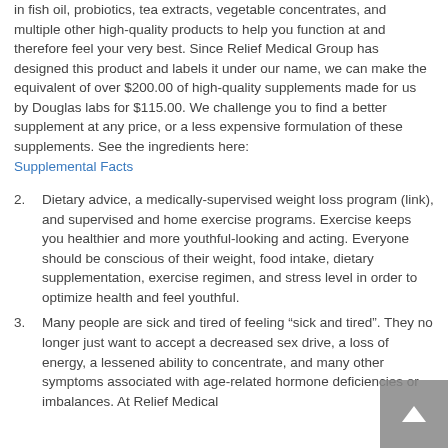in fish oil, probiotics, tea extracts, vegetable concentrates, and multiple other high-quality products to help you function at and therefore feel your very best. Since Relief Medical Group has designed this product and labels it under our name, we can make the equivalent of over $200.00 of high-quality supplements made for us by Douglas labs for $115.00. We challenge you to find a better supplement at any price, or a less expensive formulation of these supplements. See the ingredients here: Supplemental Facts
2. Dietary advice, a medically-supervised weight loss program (link), and supervised and home exercise programs. Exercise keeps you healthier and more youthful-looking and acting. Everyone should be conscious of their weight, food intake, dietary supplementation, exercise regimen, and stress level in order to optimize health and feel youthful.
3. Many people are sick and tired of feeling “sick and tired”. They no longer just want to accept a decreased sex drive, a loss of energy, a lessened ability to concentrate, and many other symptoms associated with age-related hormone deficiencies or imbalances. At Relief Medical